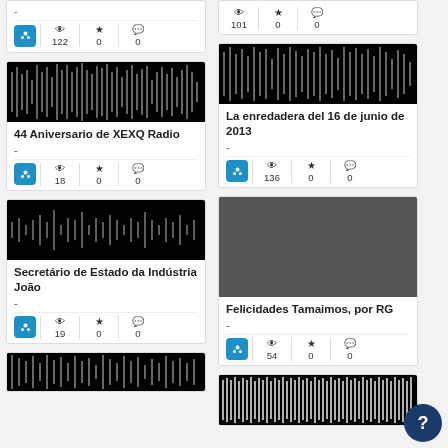[Figure (screenshot): Mini stats card with views=122, stars=0, comments=0]
[Figure (screenshot): Waveform audio card: 44 Aniversario de XEXQ Radio, views=18, stars=0, comments=0]
[Figure (screenshot): Waveform audio card: Secretário de Estado da Indústria João, views=19, stars=0, comments=0]
[Figure (screenshot): Partial waveform card at bottom left]
[Figure (screenshot): Waveform top right partial with stats 101, 0, 0]
[Figure (screenshot): Waveform audio card: La enredadera del 16 de junio de 2013, views=136, stars=0, comments=0]
[Figure (screenshot): Audio card: Felicidades Tamaimos, por RG, views=54, stars=0, comments=0]
[Figure (screenshot): Partial waveform card at bottom right: El Marco Nacion...]